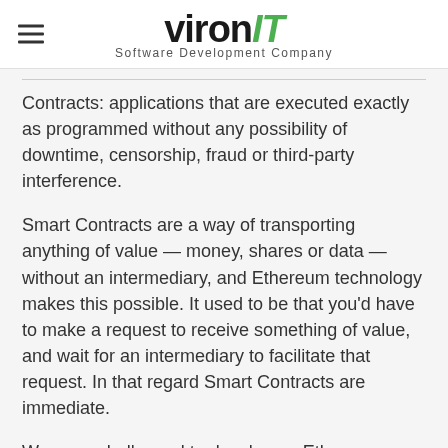vironIT Software Development Company
Contracts: applications that are executed exactly as programmed without any possibility of downtime, censorship, fraud or third-party interference.
Smart Contracts are a way of transporting anything of value — money, shares or data — without an intermediary, and Ethereum technology makes this possible. It used to be that you'd have to make a request to receive something of value, and wait for an intermediary to facilitate that request. In that regard Smart Contracts are immediate.
We were challenged to develop an Ethereum-based service for Data Sales. The project was based on AIRA shared-state-liability module